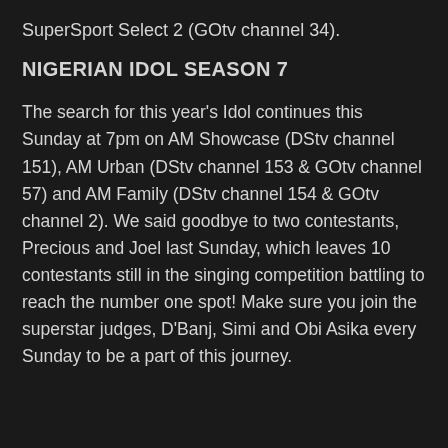SuperSport Select 2 (GOtv channel 34).
NIGERIAN IDOL SEASON 7
The search for this year's Idol continues this Sunday at 7pm on AM Showcase (DStv channel 151), AM Urban (DStv channel 153 & GOtv channel 57) and AM Family (DStv channel 154 & GOtv channel 2). We said goodbye to two contestants, Precious and Joel last Sunday, which leaves 10 contestants still in the singing competition battling to reach the number one spot! Make sure you join the superstar judges, D'Banj, Simi and Obi Asika every Sunday to be a part of this journey.